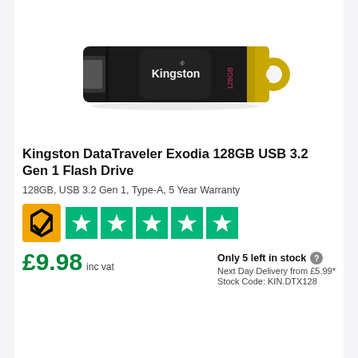[Figure (photo): Kingston DataTraveler Exodia 128GB USB flash drive, black body with gold cap and keyring loop, showing 'Kingston' branding and '128GB' text on the side]
Kingston DataTraveler Exodia 128GB USB 3.2 Gen 1 Flash Drive
128GB, USB 3.2 Gen 1, Type-A, 5 Year Warranty
[Figure (logo): Trustpilot logo (orange/black checkmark) followed by five green star rating icons]
£9.98 inc vat
Only 5 left in stock
Next Day Delivery from £5.99*
Stock Code: KIN.DTX128